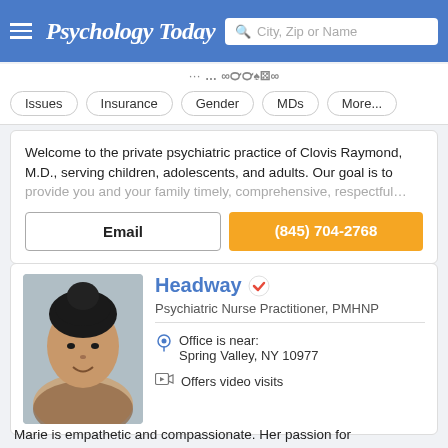Psychology Today — City, Zip or Name search bar
Issues
Insurance
Gender
MDs
More...
Welcome to the private psychiatric practice of Clovis Raymond, M.D., serving children, adolescents, and adults. Our goal is to provide you and your family timely, comprehensive, respectful...
Email | (845) 704-2768
Headway — Psychiatric Nurse Practitioner, PMHNP
Office is near: Spring Valley, NY 10977
Offers video visits
Marie is empathetic and compassionate. Her passion for